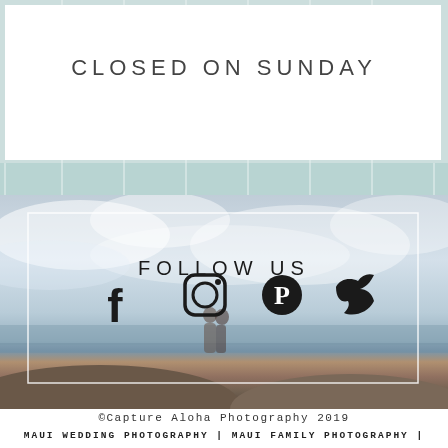CLOSED ON SUNDAY
[Figure (photo): Beach/ocean scene with couple standing on rocky cliffs, overcast sky and ocean in background, with a white-bordered 'FOLLOW US' box overlay containing Facebook, Instagram, Pinterest, and Twitter icons]
FOLLOW US
©Capture Aloha Photography 2019
MAUI WEDDING PHOTOGRAPHY | MAUI FAMILY PHOTOGRAPHY |